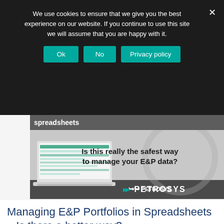We use cookies to ensure that we give you the best experience on our website. If you continue to use this site we will assume that you are happy with it.
[Figure (screenshot): Cookie consent banner with Ok, No, and Privacy policy buttons on dark background]
[Figure (illustration): Petrosys advertisement banner showing a laptop with spreadsheet, text: Is this really the safest way to manage your E&P data? with Petrosys logo]
Managing E&P Portfolios in Spreadsheets – Is there a better way?
July 15, 2022